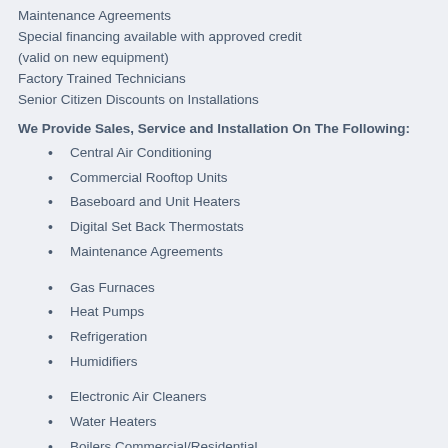Maintenance Agreements
Special financing available with approved credit
(valid on new equipment)
Factory Trained Technicians
Senior Citizen Discounts on Installations
We Provide Sales, Service and Installation On The Following:
Central Air Conditioning
Commercial Rooftop Units
Baseboard and Unit Heaters
Digital Set Back Thermostats
Maintenance Agreements
Gas Furnaces
Heat Pumps
Refrigeration
Humidifiers
Electronic Air Cleaners
Water Heaters
Boilers Commercial/Residential